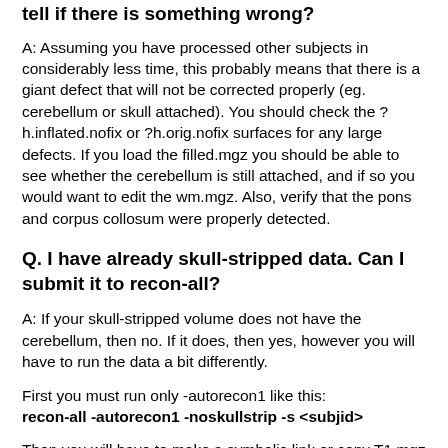tell if there is something wrong?
A: Assuming you have processed other subjects in considerably less time, this probably means that there is a giant defect that will not be corrected properly (eg. cerebellum or skull attached). You should check the ?h.inflated.nofix or ?h.orig.nofix surfaces for any large defects. If you load the filled.mgz you should be able to see whether the cerebellum is still attached, and if so you would want to edit the wm.mgz. Also, verify that the pons and corpus collosum were properly detected.
Q. I have already skull-stripped data. Can I submit it to recon-all?
A: If your skull-stripped volume does not have the cerebellum, then no. If it does, then yes, however you will have to run the data a bit differently.
First you must run only -autorecon1 like this:
recon-all -autorecon1 -noskullstrip -s <subjid>
Then you will have to make a symbolic link or copy T1.mgz to brainmask.auto.mgz and a link from brainmask.auto.mgz to brainmask.mgz. Finally, open this